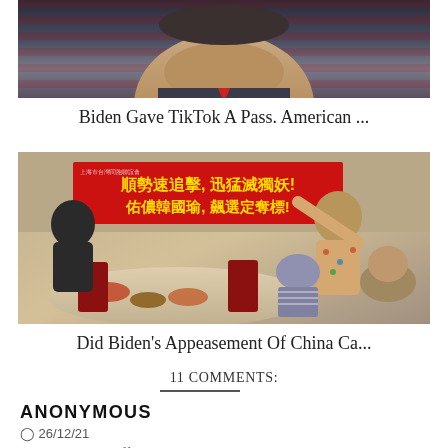[Figure (photo): Close-up photo of a man's face with an American flag in the background]
Biden Gave TikTok A Pass. American ...
[Figure (photo): Photo of people at a restaurant table with Chinese language banners in red and blue]
Did Biden's Appeasement Of China Ca...
11 COMMENTS:
ANONYMOUS
26/12/21
Unintended side effects again spoil the